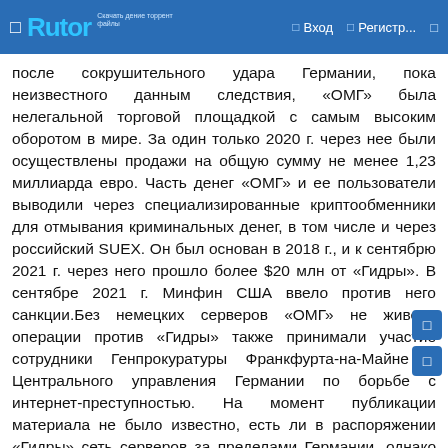Rutor | Вход | Регистр...
после сокрушительного удара Германии, пока неизвестного данным следствия, «ОМГ» была нелегальной торговой площадкой с самым высоким оборотом в мире. За один только 2020 г. через нее были осуществлены продажи на общую сумму не менее 1,23 миллиарда евро. Часть денег «ОМГ» и ее пользователи выводили через специализированные криптообменники для отмывания криминальных денег, в том числе и через российский SUEX. Он был основан в 2018 г., и к сентябрю 2021 г. через него прошло более $20 млн от «Гидры». В сентябре 2021 г. Минфин США ввело против него санкции.Без немецких серверов «ОМГ» не живетВ операции против «Гидры» также принимали участие сотрудники Генпрокуратуры Франкфурта-на-Майне и Центрального управления Германии по борьбе с интернет-преступностью. На момент публикации материала не было известно, есть ли в распоряжении «Гидры» сеть серверов за пределами Германии, однако немецкие силовики утверждают, что их действия привели к полной остановке работы ресурса.По